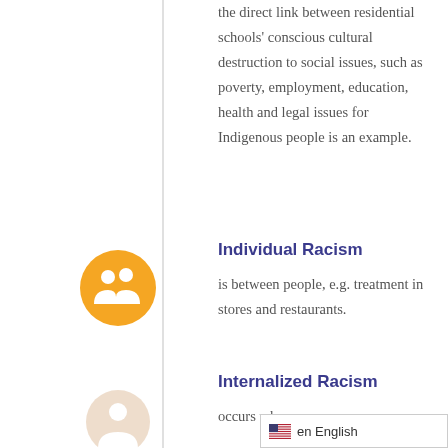the direct link between residential schools' conscious cultural destruction to social issues, such as poverty, employment, education, health and legal issues for Indigenous people is an example.
[Figure (illustration): Orange circle icon with two person silhouettes (group/people icon), representing Individual Racism section]
Individual Racism
is between people, e.g. treatment in stores and restaurants.
[Figure (illustration): Light/faded circle icon with a person silhouette, representing Internalized Racism section]
Internalized Racism
occurs when pe…
en English